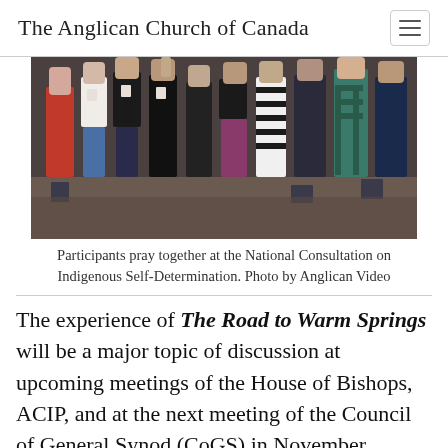The Anglican Church of Canada
[Figure (photo): Group of people standing in a circle praying together at a conference or consultation event, photographed from the waist down showing diverse clothing.]
Participants pray together at the National Consultation on Indigenous Self-Determination. Photo by Anglican Video
The experience of The Road to Warm Springs will be a major topic of discussion at upcoming meetings of the House of Bishops, ACIP, and at the next meeting of the Council of General Synod (CoGS) in November. Following the next Anglican Indigenous Sacred Circle, a small joint working